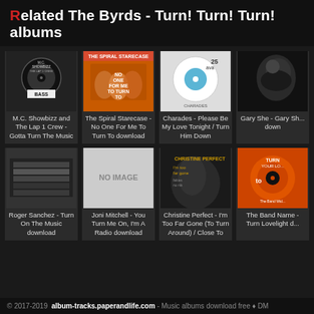Related The Byrds - Turn! Turn! Turn! albums
[Figure (photo): M.C. Showbizz and The Lap 1 Crew album cover - black and white vinyl record label style]
M.C. Showbizz and The Lap 1 Crew - Gotta Turn The Music
[Figure (photo): The Spiral Starecase - No One For Me To Turn To album cover with orange/yellow band photo]
The Spiral Starecase - No One For Me To Turn To download
[Figure (photo): Charades - Please Be My Love Tonight / Turn Him Down - white vinyl record]
Charades - Please Be My Love Tonight / Turn Him Down
[Figure (photo): Gary She - partial album cover, dark portrait]
Gary She - Gary Sh... down
[Figure (photo): Roger Sanchez album cover - dark industrial style]
Roger Sanchez - Turn On The Music download
[Figure (photo): No Image placeholder - gray box]
Joni Mitchell - You Turn Me On, I'm A Radio download
[Figure (photo): Christine Perfect - I'm Too Far Gone album cover with portrait]
Christine Perfect - I'm Too Far Gone (To Turn Around) / Close To
[Figure (photo): The Band - orange Tower Records label vinyl]
The Band Name - Turn Lovelight d...
© 2017-2019  album-tracks.paperandlife.com - Music albums download free • DM